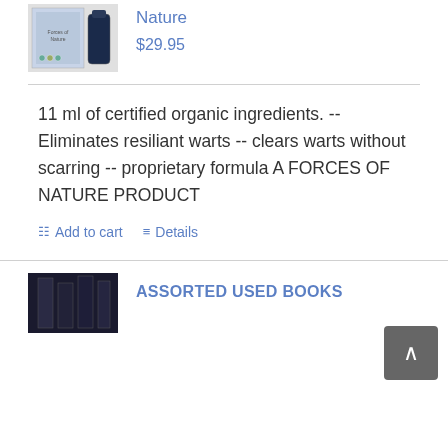[Figure (photo): Product image of Forces of Nature wart treatment bottle and box]
Nature
$29.95
11 ml of certified organic ingredients. -- Eliminates resiliant warts -- clears warts without scarring -- proprietary formula A FORCES OF NATURE PRODUCT
Add to cart
Details
[Figure (photo): Product image for Assorted Used Books listing]
ASSORTED USED BOOKS